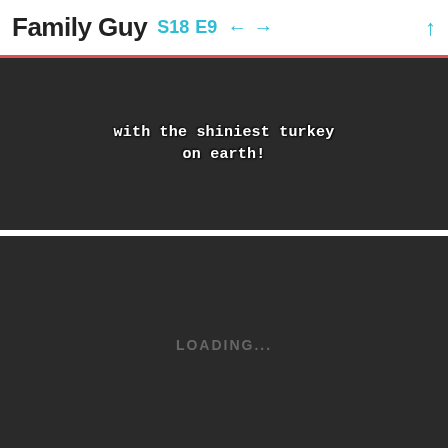Family Guy S18 E9 ← → ↑
[Figure (screenshot): Dark video panel showing subtitle text: 'with the shiniest turkey on earth!']
[Figure (screenshot): Dark video panel showing loading state with 'LOADING...' text]